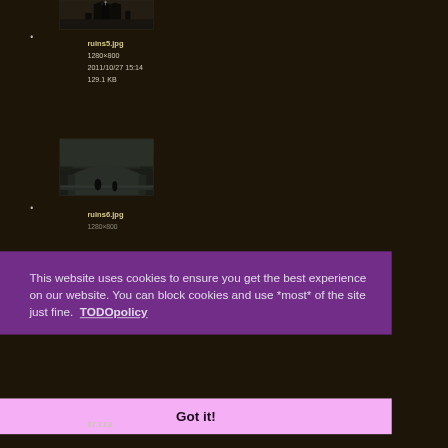[Figure (photo): Thumbnail image of ruins5.jpg showing dark ruins scene]
ruins5.jpg
1280×800
2011/10/27 15:14
129.1 KB
[Figure (photo): Thumbnail image of ruins6.jpg showing stone bridge/ruins scene]
ruins6.jpg
1280×800
This website uses cookies to ensure you get the best experience on our website. You can block cookies and use *most* of the site just fine.  TODOpolicy
Got it!
87.3 KB